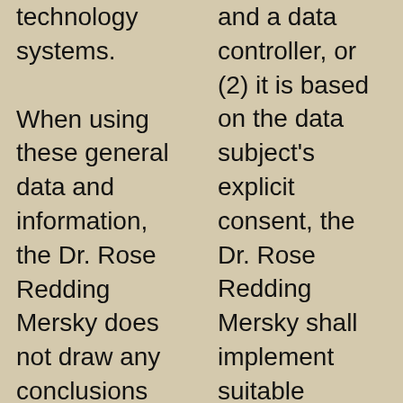technology systems.
When using these general data and information, the Dr. Rose Redding Mersky does not draw any conclusions about the data subject. Rather, this information is needed to (1) deliver the content of our website correctly, (2) optimize the content
and a data controller, or (2) it is based on the data subject's explicit consent, the Dr. Rose Redding Mersky shall implement suitable measures to safeguard the data subject's rights and